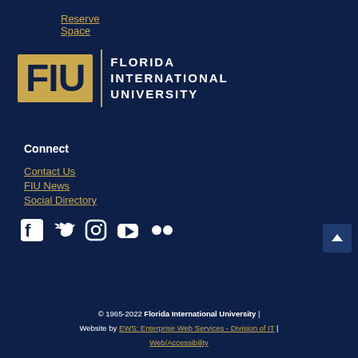Reserve Space
[Figure (logo): FIU Florida International University logo with gold FIU letters and white text on navy background]
Connect
Contact Us
FIU News
Social Directory
[Figure (illustration): Social media icons: Facebook, Twitter, Instagram, YouTube, Flickr]
© 1965-2022 Florida International University | Website by EWS: Enterprise Web Services - Division of IT | Web/Accessibility